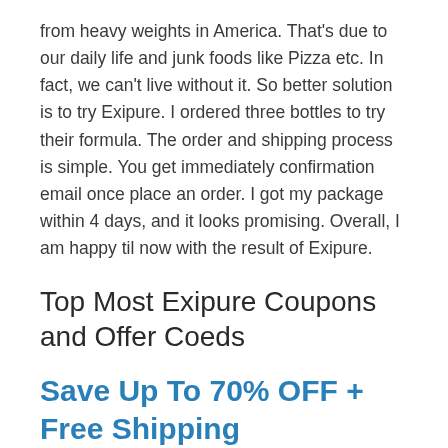from heavy weights in America. That's due to our daily life and junk foods like Pizza etc. In fact, we can't live without it. So better solution is to try Exipure. I ordered three bottles to try their formula. The order and shipping process is simple. You get immediately confirmation email once place an order. I got my package within 4 days, and it looks promising. Overall, I am happy til now with the result of Exipure.
Top Most Exipure Coupons and Offer Coeds
Save Up To 70% OFF + Free Shipping
Head up and purchase the supplement for